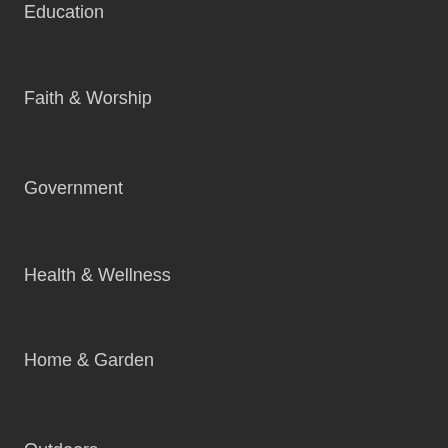Education
Faith & Worship
Government
Health & Wellness
Home & Garden
Outdoors
MORE FCJ
Sports
Obituaries
Commentary